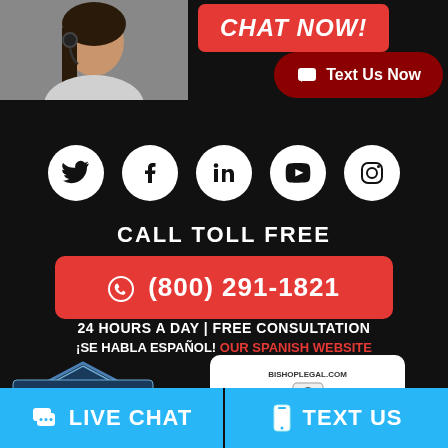[Figure (screenshot): Top banner showing a woman with headset on the left and a red CHAT NOW button on the right, plus a dark red Text Us Now pill button]
[Figure (infographic): Row of five white circular social media icons: Twitter, Facebook, LinkedIn, YouTube, Instagram]
CALL TOLL FREE
(800) 291-1821
24 HOURS A DAY | FREE CONSULTATION
¡SE HABLA ESPAÑOL! OUR SPANISH WEBSITE
[Figure (logo): Top Rated Local badge for Bishop Legal Personal Injury Law Firm with stars]
[Figure (logo): SiteLock SECURE badge showing bishoplegal.com Passed 01-Sep-2022]
LIVE CHAT
TEXT US